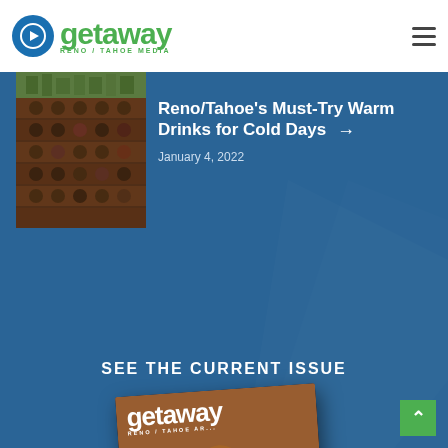getaway RENO / TAHOE MEDIA
[Figure (photo): Partial thumbnail of article image at top, cropped]
[Figure (photo): Thumbnail photo of wine rack / warm drinks in dimly lit bar setting]
Reno/Tahoe's Must-Try Warm Drinks for Cold Days → January 4, 2022
SEE THE CURRENT ISSUE
[Figure (photo): Magazine cover of Getaway Reno/Tahoe Area showing group of friends toasting with drinks at a restaurant table]